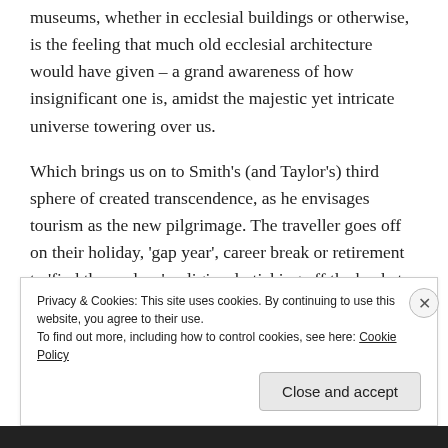museums, whether in ecclesial buildings or otherwise, is the feeling that much old ecclesial architecture would have given – a grand awareness of how insignificant one is, amidst the majestic yet intricate universe towering over us.
Which brings us on to Smith's (and Taylor's) third sphere of created transcendence, as he envisages tourism as the new pilgrimage. The traveller goes off on their holiday, 'gap year', career break or retirement to 'find themselves', religiously ticking off the bucket list items that they must cover in order to have declared that one has been
Privacy & Cookies: This site uses cookies. By continuing to use this website, you agree to their use.
To find out more, including how to control cookies, see here: Cookie Policy
Close and accept